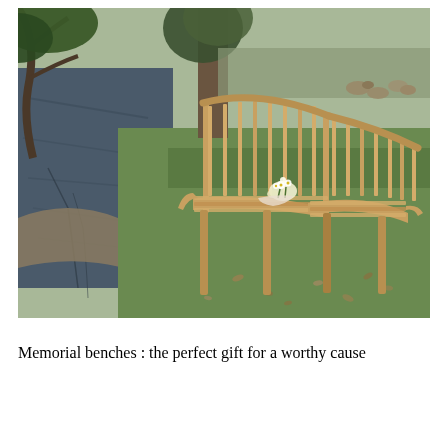[Figure (photo): A curved teak wooden garden/memorial bench sitting on a grass lawn beside a pond or lake. The bench has a distinctive curved shape with slatted back and seat. A small bunch of white flowers is placed on the bench. In the background there are trees, and ducks visible on the far bank. Fallen leaves are scattered on the grass around the bench. The pond reflects bare tree branches.]
Memorial benches : the perfect gift for a worthy cause